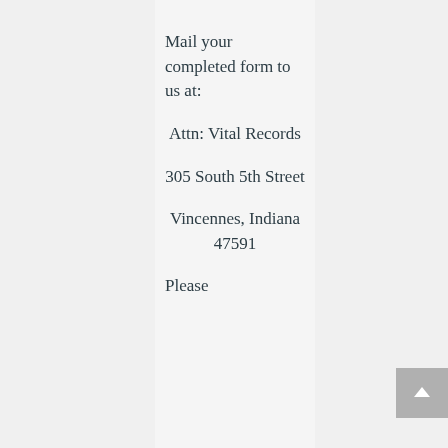Mail your completed form to us at:
Attn: Vital Records
305 South 5th Street
Vincennes, Indiana 47591
Please